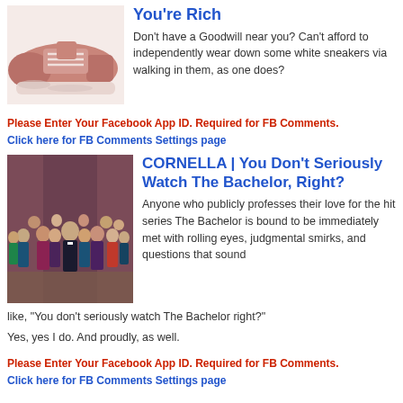[Figure (photo): Pink/red worn sneaker shoe on white background]
You're Rich
Don't have a Goodwill near you? Can't afford to independently wear down some white sneakers via walking in them, as one does?
Please Enter Your Facebook App ID. Required for FB Comments.
Click here for FB Comments Settings page
[Figure (photo): Group photo of The Bachelor cast — man in tuxedo surrounded by women in formal dresses]
CORNELLA | You Don't Seriously Watch The Bachelor, Right?
Anyone who publicly professes their love for the hit series The Bachelor is bound to be immediately met with rolling eyes, judgmental smirks, and questions that sound like, “You don’t seriously watch The Bachelor right?”
Yes, yes I do. And proudly, as well.
Please Enter Your Facebook App ID. Required for FB Comments.
Click here for FB Comments Settings page